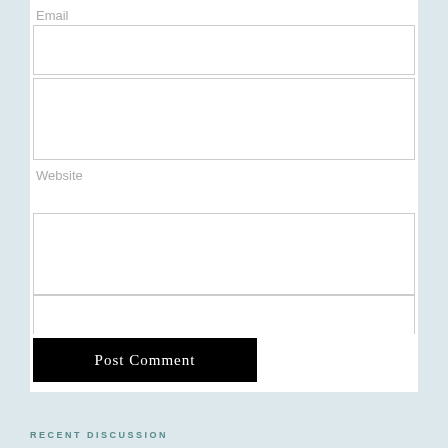Email
Website
Post Comment
RECENT DISCUSSION